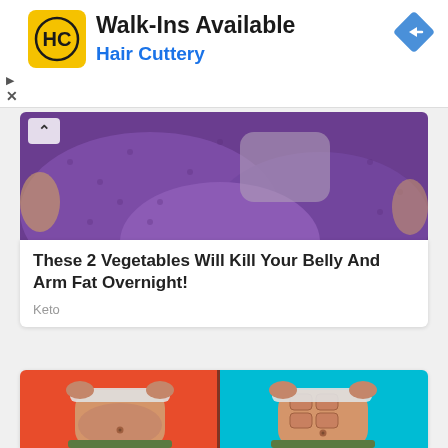[Figure (screenshot): Hair Cuttery advertisement banner with yellow HC logo, Walk-Ins Available headline, Hair Cuttery subtitle in blue, navigation arrow icon]
[Figure (photo): Photo of a person in purple clothing sitting, showing belly/body area]
These 2 Vegetables Will Kill Your Belly And Arm Fat Overnight!
Keto
[Figure (illustration): Before and after illustration showing belly fat transformation - left side orange background with flabby belly, right side cyan background with six-pack abs]